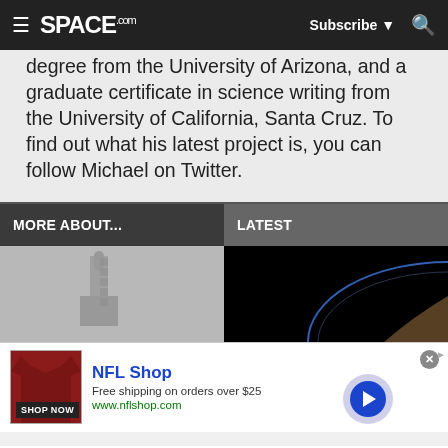SPACE.com — Subscribe — Search
degree from the University of Arizona, and a graduate certificate in science writing from the University of California, Santa Cruz. To find out what his latest project is, you can follow Michael on Twitter.
MORE ABOUT...
LATEST
[Figure (photo): Rocket on launch pad thumbnail]
[Figure (photo): Space/Earth horizon photo thumbnail]
[Figure (screenshot): NFL Shop advertisement banner with shop now button]